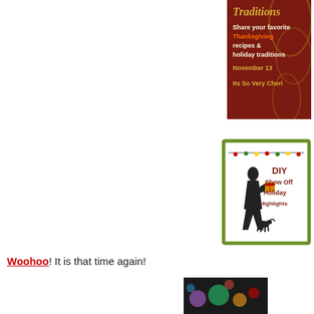[Figure (illustration): Dark red background banner image with text: 'Traditions', 'Share your favorite Thanksgiving recipes & holiday traditions', 'November 13', 'Its So Very Cheri']
[Figure (illustration): DIY Show Off Holiday Highlights image with a silhouette of a woman sitting with a gift box and string lights, olive green border]
Woohoo! It is that time again!
[Figure (photo): Partial photo at bottom of page showing colorful holiday lights or decorations]